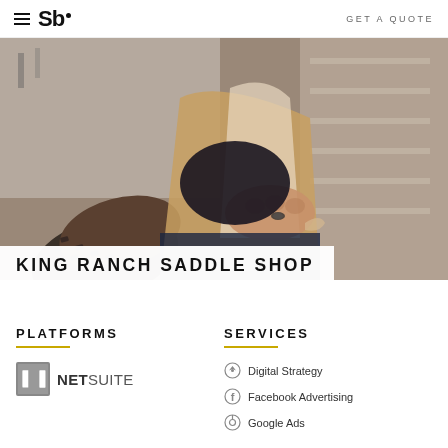Sb. | GET A QUOTE
[Figure (photo): Person seated with feet up wearing brown boots with rubber-patterned sole, wearing a tan/brown jacket, hands clasped together visible in foreground]
KING RANCH SADDLE SHOP
PLATFORMS
SERVICES
[Figure (logo): NetSuite logo with stylized N icon in grey square and NETSUITE text]
Digital Strategy
Facebook Advertising
Google Ads